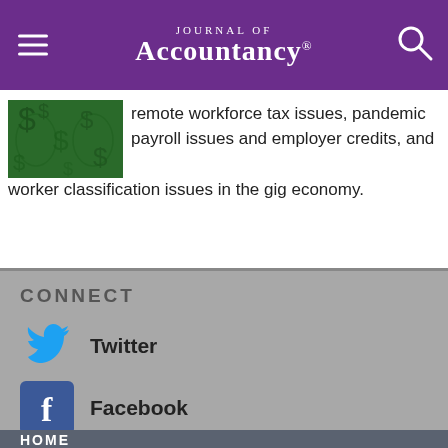Journal of Accountancy
remote workforce tax issues, pandemic payroll issues and employer credits, and worker classification issues in the gig economy.
CONNECT
Twitter
Facebook
LinkedIn
HOME